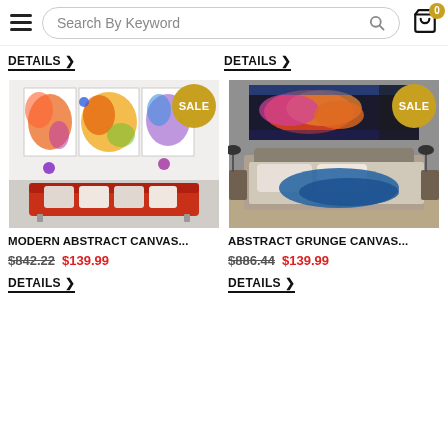Search By Keyword
DETAILS >
DETAILS >
[Figure (photo): Colorful modern abstract canvas art with swirling colors displayed above a red sofa, marked SALE]
[Figure (photo): Abstract grunge canvas art with colorful swirling shapes displayed above a bed in a bedroom, marked SALE]
MODERN ABSTRACT CANVAS...
ABSTRACT GRUNGE CANVAS...
$842.22  $139.99
$886.44  $139.99
DETAILS >
DETAILS >